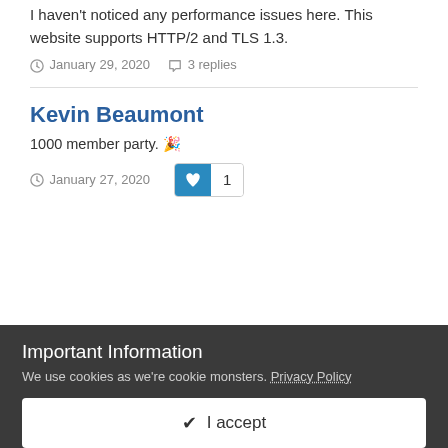I haven't noticed any performance issues here. This website supports HTTP/2 and TLS 1.3.
January 29, 2020   3 replies
Kevin Beaumont
1000 member party. 🎉
January 27, 2020   ❤ 1
^ Show previous comments  1 more
Kevin Beaumont
Always.
January 29, 2020
Important Information
We use cookies as we're cookie monsters. Privacy Policy
✔ I accept